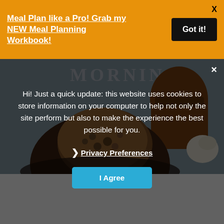Meal Plan like a Pro! Grab my NEW Meal Planning Workbook!
Got it!
[Figure (photo): Food photo showing a baked cookie or muffin in the foreground, with a jar with brown contents and a white garlic bulb visible in the blurred background. The word 'MORNING' is partially visible at the top of the image.]
Hi! Just a quick update: this website uses cookies to store information on your computer to help not only the site perform but also to make the experience the best possible for you.
❯ Privacy Preferences
I Agree